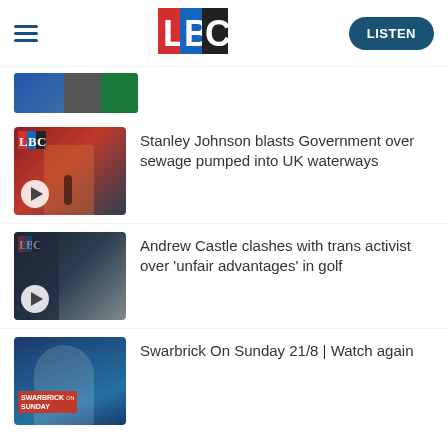[Figure (logo): LBC radio logo with red L, blue B, black C letters on white background]
[Figure (photo): Partial thumbnail strip showing cropped images]
[Figure (photo): LBC radio studio thumbnail with woman in red jacket and play button overlay]
Stanley Johnson blasts Government over sewage pumped into UK waterways
[Figure (photo): LBC radio studio thumbnail with man and golf ball, play button overlay]
Andrew Castle clashes with trans activist over 'unfair advantages' in golf
[Figure (photo): Swarbrick On Sunday show thumbnail with presenter in suit and Swarbrick On Sunday badge]
Swarbrick On Sunday 21/8 | Watch again